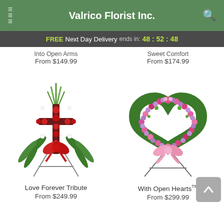Valrico Florist Inc.
FREE Next Day Delivery ends in: 48:52:48
Into Open Arms From $149.99
Sweet Comfort From $174.99
[Figure (photo): Love Forever Tribute - a floral cross arrangement with red roses, greenery and a red ribbon bow on a metal easel stand]
Love Forever Tribute
From $249.99
[Figure (photo): With Open Hearts - a heart-shaped wreath of pink and lavender flowers with a pink ribbon bow on a metal easel stand]
With Open Hearts™
From $299.99